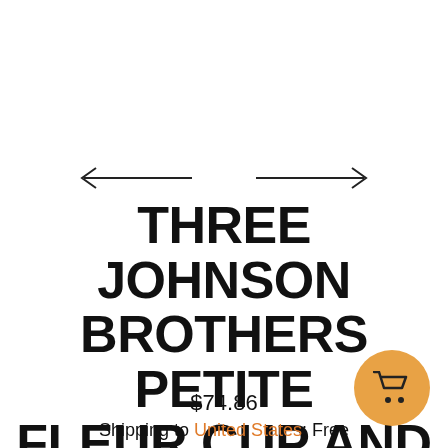[Figure (other): Navigation arrows: left-pointing arrow on the left and right-pointing arrow on the right, used for image carousel navigation]
THREE JOHNSON BROTHERS PETITE FLEUR CUP AND SAUCER SETS MADE IN ENGLAND.
$74.86
Shipping to United States: Free
[Figure (other): Orange circular shopping cart button with cart icon]